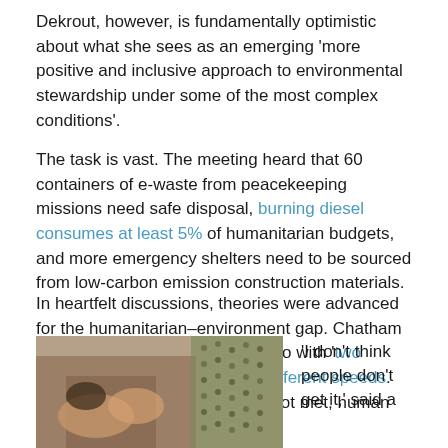Dekrout, however, is fundamentally optimistic about what she sees as an emerging 'more positive and inclusive approach to environmental stewardship under some of the most complex conditions'.
The task is vast. The meeting heard that 60 containers of e-waste from peacekeeping missions need safe disposal, burning diesel consumes at least 5% of humanitarian budgets, and more emergency shelters need to be sourced from low-carbon emission construction materials.
In heartfelt discussions, theories were advanced for the humanitarian–environment gap. Chatham House's Oli Brown felt it had to do with 'two different worlds moving at two different speeds. But if environmental needs are not met, human needs are not met'.
[Figure (photo): Photo of hands, appears to show people interacting, cropped at bottom of page]
'I don't think people don't get it,' said a